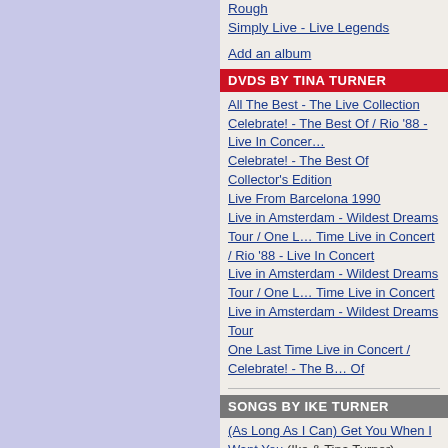Rough
Simply Live - Live Legends
Add an album
DVDS BY TINA TURNER
All The Best - The Live Collection
Celebrate! - The Best Of / Rio '88 - Live In Concert
Celebrate! - The Best Of
Collector's Edition
Live From Barcelona 1990
Live in Amsterdam - Wildest Dreams Tour / One Last Time Live in Concert / Rio '88 - Live In Concert
Live in Amsterdam - Wildest Dreams Tour / One Last Time Live in Concert
Live in Amsterdam - Wildest Dreams Tour
One Last Time Live in Concert / Celebrate! - The Best Of
SONGS BY IKE TURNER
(As Long As I Can) Get You When I Want You (Ike & Tina Turner)
(Do You Think That I Should Change) The Big Question
(He's Gonna Be) Fine, Fine, Fine (The Ikettes)
(I Know) You Don't Love Me (Ike Turner & His Kings of Rhythm)
(I'll Do Anything) Just To Be With You (Ike & Tina Turner)
(Never More) Lonely For You (The Ikettes)
(You Can Have) The City
(You've Got To) Put Something Into It (Ike & Tina Turner)
3 O'Clock In The Morning Blues (Ike & Tina Turner)
A Fool For A Fool (Ike & Tina Turner)
A Fool In Love (Ike & Tina Turner)
A Fool Too Long (Ike & Tina Turner)
A Letter From Tina (Ike & Tina Turner)
A Love Like Yours (Don't Come Knocking Every Day)